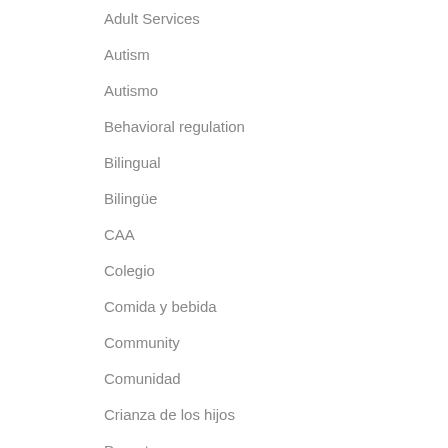Adult Services
Autism
Autismo
Behavioral regulation
Bilingual
Bilingüe
CAA
Colegio
Comida y bebida
Community
Comunidad
Crianza de los hijos
Deportes
Desarrollo infantil